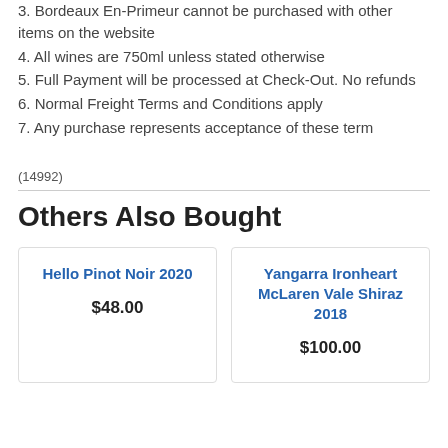3. Bordeaux En-Primeur cannot be purchased with other items on the website
4. All wines are 750ml unless stated otherwise
5. Full Payment will be processed at Check-Out. No refunds
6. Normal Freight Terms and Conditions apply
7. Any purchase represents acceptance of these term
(14992)
Others Also Bought
Hello Pinot Noir 2020
Yangarra Ironheart McLaren Vale Shiraz 2018